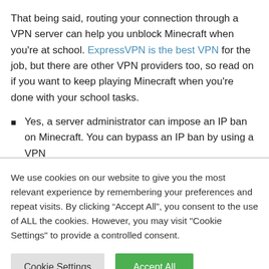That being said, routing your connection through a VPN server can help you unblock Minecraft when you're at school. ExpressVPN is the best VPN for the job, but there are other VPN providers too, so read on if you want to keep playing Minecraft when you're done with your school tasks.
Yes, a server administrator can impose an IP ban on Minecraft. You can bypass an IP ban by using a VPN
We use cookies on our website to give you the most relevant experience by remembering your preferences and repeat visits. By clicking “Accept All”, you consent to the use of ALL the cookies. However, you may visit "Cookie Settings" to provide a controlled consent.